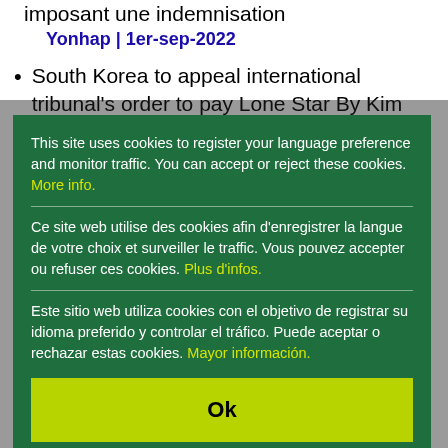imposant une indemnisation Yonhap | 1er-sep-2022
South Korea to appeal international tribunal's order to pay Lone Star By Kim Arin Korea Herald | 1er-sep-2022
Se dictamina que Corea del Sur debe pagar...
This site uses cookies to register your language preference and monitor traffic. You can accept or reject these cookies. More info.
Ce site web utilise des cookies afin d'enregistrer la langue de votre choix et surveiller le traffic. Vous pouvez accepter ou refuser ces cookies. Plus d'infos.
Este sitio web utiliza cookies con el objetivo de registrar su idioma preferido y controlar el tráfico. Puede aceptar o rechazar estas cookies. Mayor información.
Ok